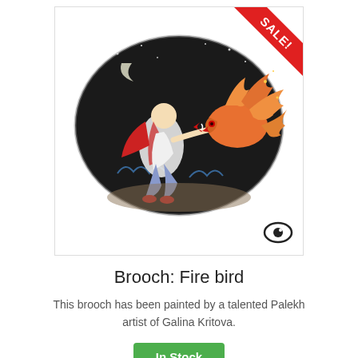[Figure (photo): An oval lacquered brooch painted with a Russian folk art scene showing a figure in red and white clothes interacting with a fiery orange bird (firebird) against a black background with floral motifs. A red SALE! ribbon banner is in the top-right corner. An eye icon is in the bottom-right corner of the product image frame.]
Brooch: Fire bird
This brooch has been painted by a talented Palekh artist of Galina Kritova.
In Stock